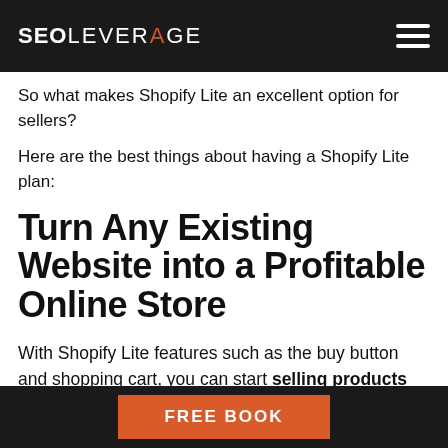SEOLEVERAGE
So what makes Shopify Lite an excellent option for sellers?
Here are the best things about having a Shopify Lite plan:
Turn Any Existing Website into a Profitable Online Store
With Shopify Lite features such as the buy button and shopping cart, you can start selling products through Facebook or any other
FREE BOOK